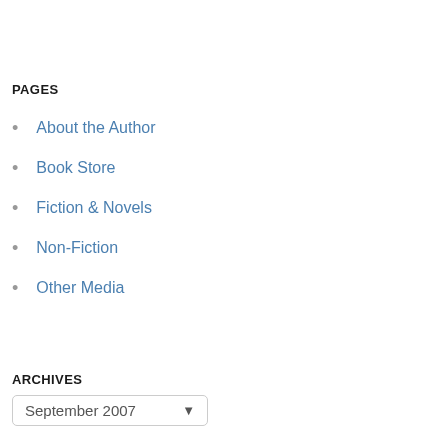PAGES
About the Author
Book Store
Fiction & Novels
Non-Fiction
Other Media
ARCHIVES
September 2007